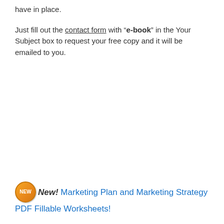have in place.

Just fill out the contact form with "e-book" in the Your Subject box to request your free copy and it will be emailed to you.
New! Marketing Plan and Marketing Strategy PDF Fillable Worksheets!